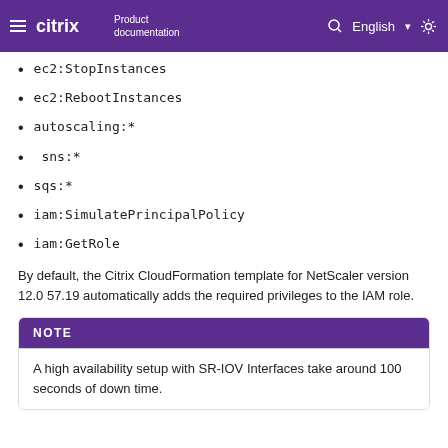Citrix Product documentation — English
ec2:StopInstances
ec2:RebootInstances
autoscaling:*
sns:*
sqs:*
iam:SimulatePrincipalPolicy
iam:GetRole
By default, the Citrix CloudFormation template for NetScaler version 12.0 57.19 automatically adds the required privileges to the IAM role.
NOTE
A high availability setup with SR-IOV Interfaces take around 100 seconds of down time.